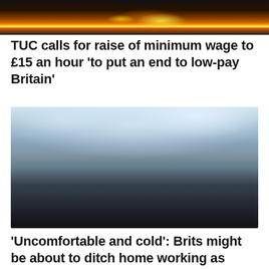[Figure (photo): Top partial photo showing sparks flying from what appears to be a metal grinding or welding operation, with bright orange and yellow sparks against a dark background.]
TUC calls for raise of minimum wage to £15 an hour 'to put an end to low-pay Britain'
[Figure (photo): Office photo showing multiple workers seated at desks with computer monitors in a modern open-plan office with large curved glass ceiling/windows. Several people are visible, some standing and conversing, others seated working.]
'Uncomfortable and cold': Brits might be about to ditch home working as heating bills soar